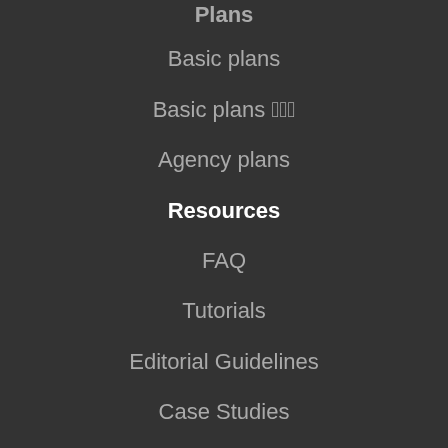Plans
Basic plans
Basic plans 파트너
Agency plans
Resources
FAQ
Tutorials
Editorial Guidelines
Case Studies
Blog
Others
Our Distributions